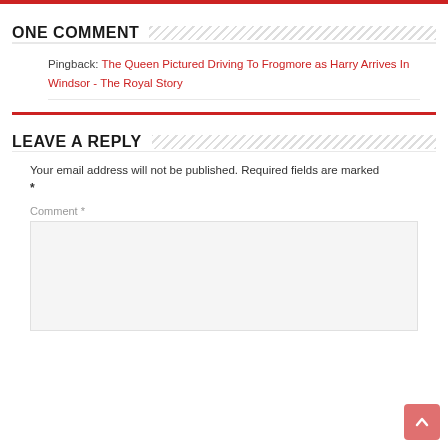ONE COMMENT
Pingback: The Queen Pictured Driving To Frogmore as Harry Arrives In Windsor - The Royal Story
LEAVE A REPLY
Your email address will not be published. Required fields are marked *
Comment *